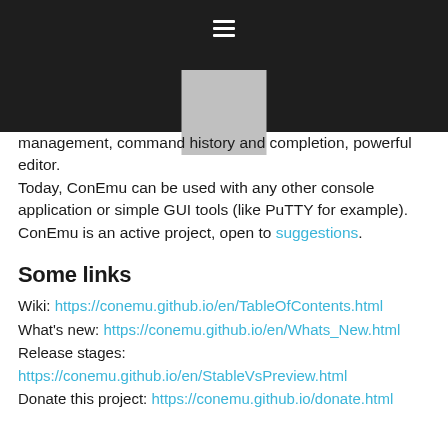[Figure (screenshot): Dark navigation header bar with hamburger menu icon and a grey square logo placeholder centered below]
management, command history and completion, powerful editor.
Today, ConEmu can be used with any other console application or simple GUI tools (like PuTTY for example). ConEmu is an active project, open to suggestions.
Some links
Wiki: https://conemu.github.io/en/TableOfContents.html
What's new: https://conemu.github.io/en/Whats_New.html
Release stages:
https://conemu.github.io/en/StableVsPreview.html
Donate this project: https://conemu.github.io/donate.html